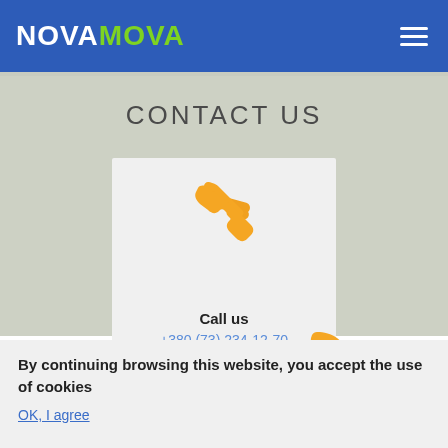[Figure (logo): NOVAMOVA logo: NOVA in white, MOVA in green, on blue header background]
CONTACT US
[Figure (illustration): Orange telephone handset icon]
Call us
+380 (73) 234-12-70
[Figure (illustration): WhatsApp icon (green rounded square) and Viber icon (purple rounded square)]
By continuing browsing this website, you accept the use of cookies
OK, I agree